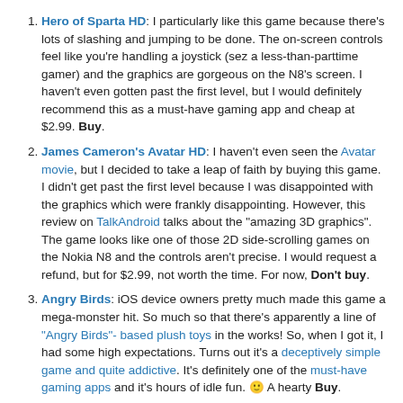Hero of Sparta HD: I particularly like this game because there's lots of slashing and jumping to be done. The on-screen controls feel like you're handling a joystick (sez a less-than-parttime gamer) and the graphics are gorgeous on the N8's screen. I haven't even gotten past the first level, but I would definitely recommend this as a must-have gaming app and cheap at $2.99. Buy.
James Cameron's Avatar HD: I haven't even seen the Avatar movie, but I decided to take a leap of faith by buying this game. I didn't get past the first level because I was disappointed with the graphics which were frankly disappointing. However, this review on TalkAndroid talks about the "amazing 3D graphics". The game looks like one of those 2D side-scrolling games on the Nokia N8 and the controls aren't precise. I would request a refund, but for $2.99, not worth the time. For now, Don't buy.
Angry Birds: iOS device owners pretty much made this game a mega-monster hit. So much so that there's apparently a line of "Angry Birds"- based plush toys in the works! So, when I got it, I had some high expectations. Turns out it's a deceptively simple game and quite addictive. It's definitely one of the must-have gaming apps and it's hours of idle fun. 🙂 A hearty Buy.
GT Racing: Motor Academy HD: I suck at driving in real life.